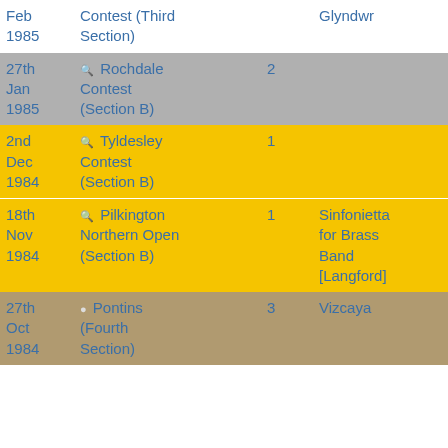| Date | Contest | Position | Piece | Bands |
| --- | --- | --- | --- | --- |
| Feb 1985 | Contest (Third Section) |  | Glyndwr |  |
| 27th Jan 1985 | 🔍 Rochdale Contest (Section B) | 2 |  | 15 |
| 2nd Dec 1984 | 🔍 Tyldesley Contest (Section B) | 1 |  | 3 |
| 18th Nov 1984 | 🔍 Pilkington Northern Open (Section B) | 1 | Sinfonietta for Brass Band [Langford] | 7 |
| 27th Oct 1984 | • Pontins (Fourth Section) | 3 | Vizcaya |  |